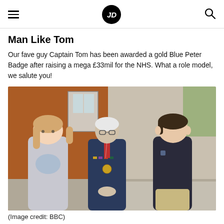JD (logo)
Man Like Tom
Our fave guy Captain Tom has been awarded a gold Blue Peter Badge after raising a mega £33mil for the NHS. What a role model, we salute you!
[Figure (photo): Captain Tom Moore in military uniform with medals, standing between a teenage girl in a unicorn jumper and a teenage boy in a dark polo shirt, outdoors in front of a red brick building.]
(Image credit: BBC)